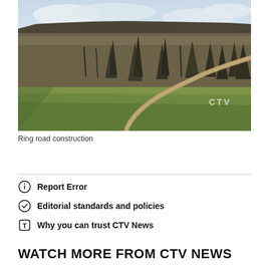[Figure (photo): Aerial view of ring road construction area showing a winding path/road through scrubby forest and grassland with a wide valley in the background. CTV watermark visible in lower right.]
Ring road construction
Report Error
Editorial standards and policies
Why you can trust CTV News
WATCH MORE FROM CTV NEWS